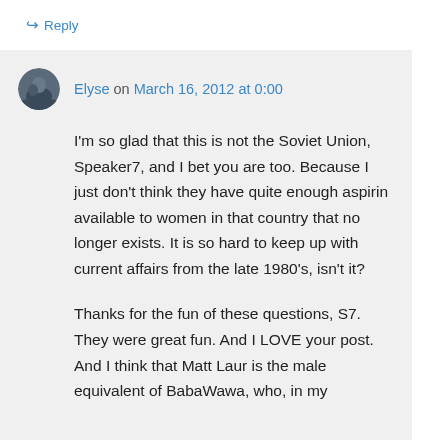↪ Reply
Elyse on March 16, 2012 at 0:00
I'm so glad that this is not the Soviet Union, Speaker7, and I bet you are too. Because I just don't think they have quite enough aspirin available to women in that country that no longer exists. It is so hard to keep up with current affairs from the late 1980's, isn't it?

Thanks for the fun of these questions, S7. They were great fun. And I LOVE your post. And I think that Matt Laur is the male equivalent of BabaWawa, who, in my